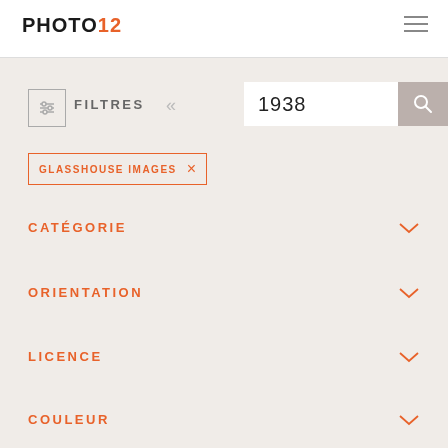PHOTO12
[Figure (screenshot): Filter icon with sliders/equalizer symbol inside a square border]
FILTRES
1938
[Figure (other): Search magnifying glass icon button]
GLASSHOUSE IMAGES ×
CATÉGORIE
ORIENTATION
LICENCE
COULEUR
ÂGE